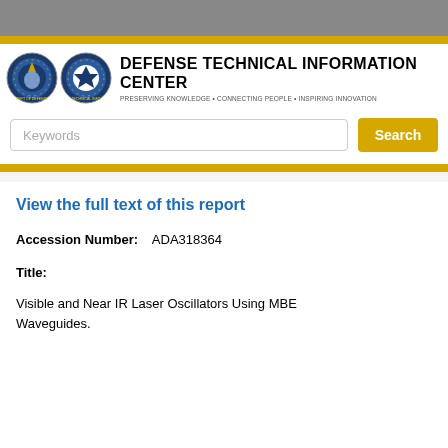[Figure (logo): Defense Technical Information Center logo with two seals and text: DEFENSE TECHNICAL INFORMATION CENTER, Preserving Knowledge • Connecting People • Inspiring Innovation]
Keywords
Search
View the full text of this report
Accession Number:   ADA318364
Title:
Visible and Near IR Laser Oscillators Using MBE Waveguides.